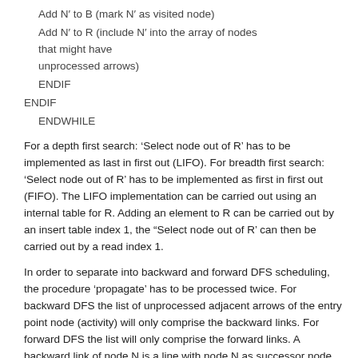Add N' to B (mark N' as visited node)
Add N' to R (include N' into the array of nodes that might have unprocessed arrows)
ENDIF
ENDIF
ENDWHILE
For a depth first search: ‘Select node out of R’ has to be implemented as last in first out (LIFO). For breadth first search: ‘Select node out of R’ has to be implemented as first in first out (FIFO). The LIFO implementation can be carried out using an internal table for R. Adding an element to R can be carried out by an insert table index 1, the “Select node out of R’ can then be carried out by a read index 1.
In order to separate into backward and forward DFS scheduling, the procedure ‘propagate’ has to be processed twice. For backward DFS the list of unprocessed adjacent arrows of the entry point node (activity) will only comprise the backward links. For forward DFS the list will only comprise the forward links. A backward link of node N is a line with node N as successor node.
In addition to the general split into backward/forward DFS propagation, all